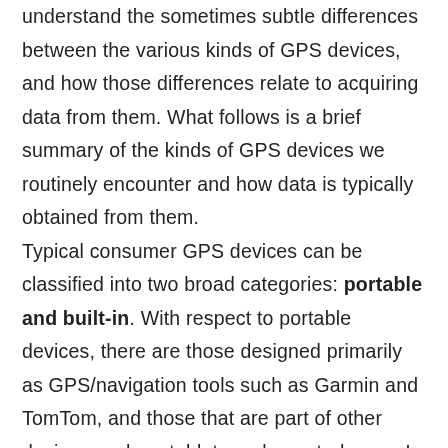understand the sometimes subtle differences between the various kinds of GPS devices, and how those differences relate to acquiring data from them. What follows is a brief summary of the kinds of GPS devices we routinely encounter and how data is typically obtained from them. Typical consumer GPS devices can be classified into two broad categories: portable and built-in. With respect to portable devices, there are those designed primarily as GPS/navigation tools such as Garmin and TomTom, and those that are part of other devices such as tablets and smart-phones. In either case, a ph[ysical] connection is required to access data from withi[n]